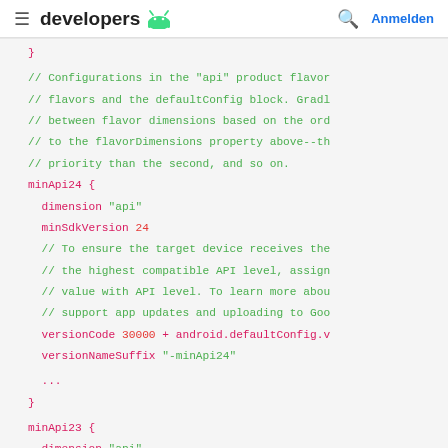≡  developers 🤖   🔍  Anmelden
[Figure (screenshot): Android code snippet showing Groovy/Kotlin DSL build.gradle product flavor configuration for minApi24 and minApi23 blocks with comments about flavor dimensions and versionCode.]